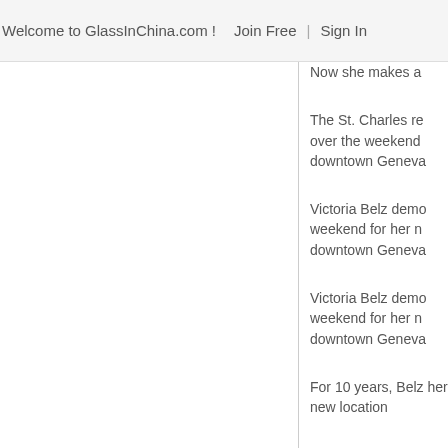Welcome to GlassInChina.com !   Join Free  |  Sign In
Now she makes a
The St. Charles re over the weekend downtown Geneva
Victoria Belz demo weekend for her n downtown Geneva
Victoria Belz demo weekend for her n downtown Geneva
For 10 years, Belz her new location